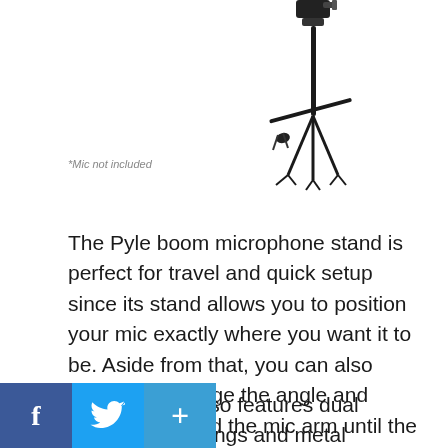[Figure (photo): A black boom microphone stand clamp and arm assembly photographed against white background]
*Mic not included
The Pyle boom microphone stand is perfect for travel and quick setup since its stand allows you to position your mic exactly where you want it to be. Aside from that, you can also extend it, manage the angle and manually spread the mic arm until the distance is 3.1 ft. This stand is made of top quality steel metal alloy and is double braced for exceptional support and stability.
In addition, it also features dual suspension springs and metal extension which support arms to create